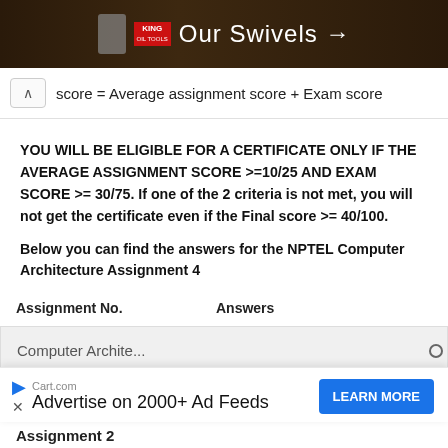[Figure (photo): Advertisement banner for King Oil Tools showing swivels product with dark background and text 'Our Swivels →']
score = Average assignment score + Exam score
YOU WILL BE ELIGIBLE FOR A CERTIFICATE ONLY IF THE AVERAGE ASSIGNMENT SCORE >=10/25 AND EXAM SCORE >= 30/75. If one of the 2 criteria is not met, you will not get the certificate even if the Final score >= 40/100.
Below you can find the answers for the NPTEL Computer Architecture Assignment 4
| Assignment No. | Answers |
| --- | --- |
| Computer Architecture ... |  |
[Figure (photo): Advertisement overlay: Cart.com - Advertise on 2000+ Ad Feeds, with LEARN MORE button]
Assignment 2